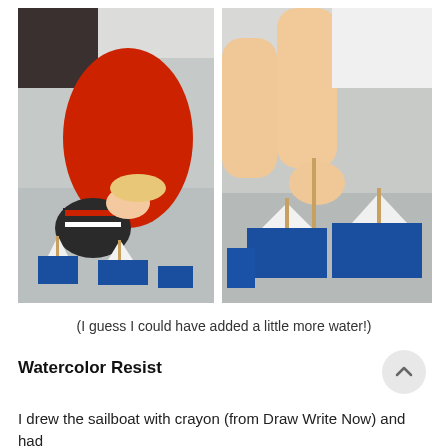[Figure (photo): Two side-by-side photos of children playing with small blue paper boats in a bathtub. Left photo: a young child wearing a red shirt and knit hat leaning over a tub with blue boats floating in shallow water. Right photo: a blonde child in white top picking up or placing a blue paper boat in the tub.]
(I guess I could have added a little more water!)
Watercolor Resist
I drew the sailboat with crayon (from Draw Write Now) and had